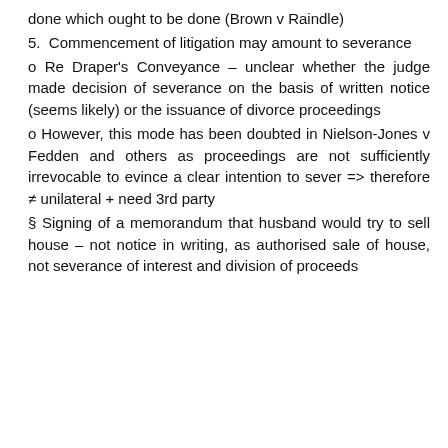done which ought to be done (Brown v Raindle)
5.  Commencement of litigation may amount to severance
o Re Draper's Conveyance – unclear whether the judge made decision of severance on the basis of written notice (seems likely) or the issuance of divorce proceedings
o However, this mode has been doubted in Nielson-Jones v Fedden and others as proceedings are not sufficiently irrevocable to evince a clear intention to sever => therefore ≠ unilateral + need 3rd party
§ Signing of a memorandum that husband would try to sell house – not notice in writing, as authorised sale of house, not severance of interest and division of proceeds